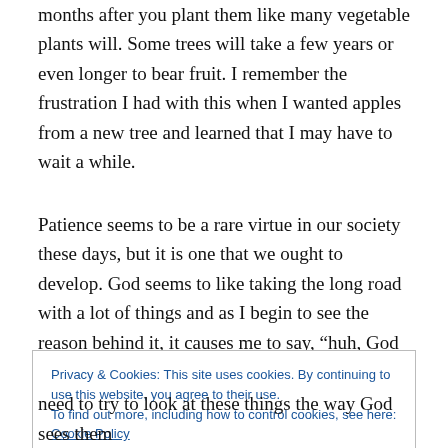months after you plant them like many vegetable plants will. Some trees will take a few years or even longer to bear fruit. I remember the frustration I had with this when I wanted apples from a new tree and learned that I may have to wait a while.
Patience seems to be a rare virtue in our society these days, but it is one that we ought to develop. God seems to like taking the long road with a lot of things and as I begin to see the reason behind it, it causes me to say, “huh, God really is smarter than I am.” ?
Privacy & Cookies: This site uses cookies. By continuing to use this website, you agree to their use.
To find out more, including how to control cookies, see here: Cookie Policy
need to try to look at these things the way God sees them